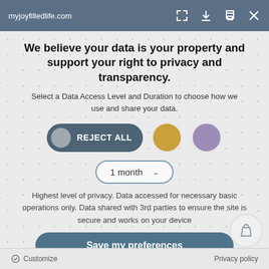myjoyfilledlife.com
We believe your data is your property and support your right to privacy and transparency.
Select a Data Access Level and Duration to choose how we use and share your data.
[Figure (infographic): Three consent option buttons: REJECT ALL (dark teal pill with grey circle), a gold circle option, and a purple circle option, with a '1 month' dropdown selector below]
Highest level of privacy. Data accessed for necessary basic operations only. Data shared with 3rd parties to ensure the site is secure and works on your device
Save my preferences
Customize   Privacy policy